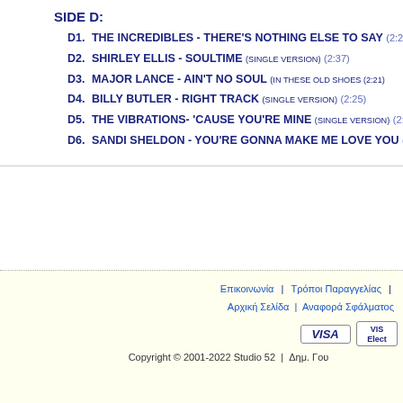SIDE D:
D1.  THE INCREDIBLES - THERE'S NOTHING ELSE TO SAY  (2:20)
D2.  SHIRLEY ELLIS - SOULTIME  (SINGLE VERSION) (2:37)
D3.  MAJOR LANCE - AIN'T NO SOUL  (IN THESE OLD SHOES (2:21)
D4.  BILLY BUTLER - RIGHT TRACK  (SINGLE VERSION) (2:25)
D5.  THE VIBRATIONS- 'CAUSE YOU'RE MINE  (SINGLE VERSION) (2:1…)
D6.  SANDI SHELDON - YOU'RE GONNA MAKE ME LOVE YOU  (2:4…)
Επικοινωνία | Τρόποι Παραγγελίας | Αρχική Σελίδα | Αναφορά Σφάλματος | Copyright © 2001-2022 Studio 52 | Δημ. Γου…